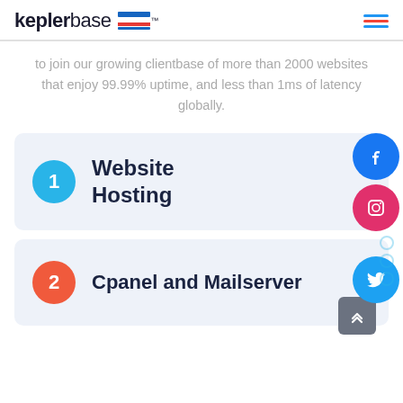keplerbase
to join our growing clientbase of more than 2000 websites that enjoy 99.99% uptime, and less than 1ms of latency globally.
[Figure (illustration): Social media sidebar buttons: Facebook (blue circle), Instagram (pink circle), Twitter (blue circle)]
1 Website Hosting
2 Cpanel and Mailserver